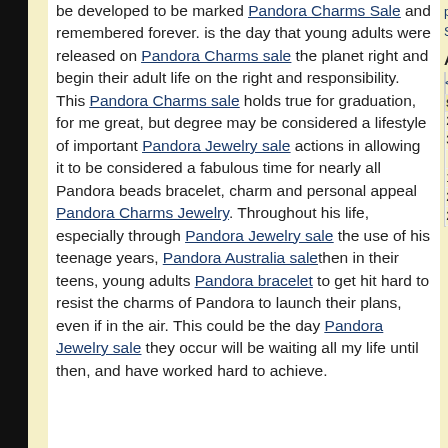be developed to be marked Pandora Charms Sale and remembered forever. is the day that young adults were released on Pandora Charms sale the planet right and begin their adult life on the right and responsibility. This Pandora Charms sale holds true for graduation, for me great, but degree may be considered a lifestyle of important Pandora Jewelry sale actions in allowing it to be considered a fabulous time for nearly all Pandora beads bracelet, charm and personal appeal Pandora Charms Jewelry. Throughout his life, especially through Pandora Jewelry sale the use of his teenage years, Pandora Australia salethen in their teens, young adults Pandora bracelet to get hit hard to resist the charms of Pandora to launch their plans, even if in the air. This could be the day Pandora Jewelry sale they occur will be waiting all my life until then, and have worked hard to achieve.
paiNIST SpiritBr
Archiv
| Su |
| --- |
| 24 |
| 31 |
| 7 |
| 14 |
| 21 |
| 28 |